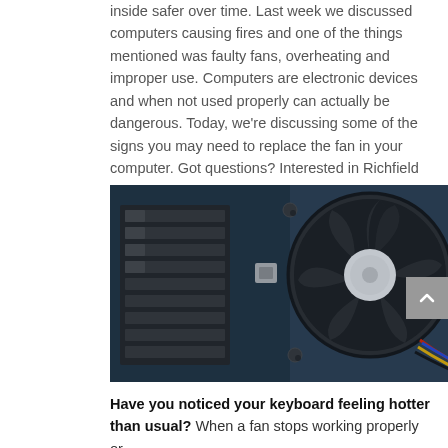inside safer over time. Last week we discussed computers causing fires and one of the things mentioned was faulty fans, overheating and improper use. Computers are electronic devices and when not used properly can actually be dangerous. Today, we're discussing some of the signs you may need to replace the fan in your computer. Got questions? Interested in Richfield computer repair? Contact Chipheads Computer Repair today!
[Figure (photo): Close-up photo of a computer CPU cooling fan mounted on a motherboard, with visible heatsink fins on the left and colorful wires on the right bottom. The fan is black with a white center cap. The background shows blue-tinted circuit board components.]
Have you noticed your keyboard feeling hotter than usual? When a fan stops working properly or